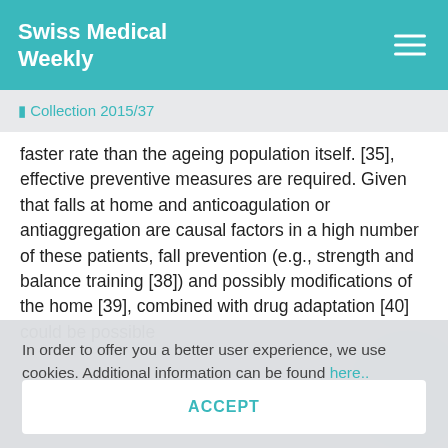Swiss Medical Weekly
⬛ Collection 2015/37
faster rate than the ageing population itself. [35], effective preventive measures are required. Given that falls at home and anticoagulation or antiaggregation are causal factors in a high number of these patients, fall prevention (e.g., strength and balance training [38]) and possibly modifications of the home [39], combined with drug adaptation [40] could be possible
In order to offer you a better user experience, we use cookies. Additional information can be found here..
ACCEPT